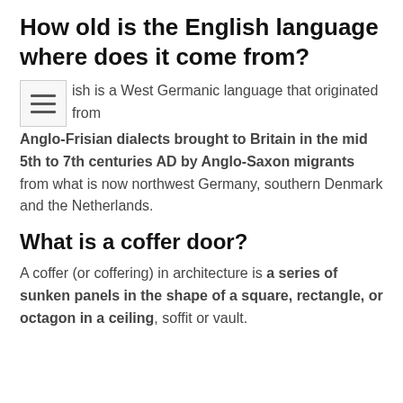How old is the English language where does it come from?
English is a West Germanic language that originated from Anglo-Frisian dialects brought to Britain in the mid 5th to 7th centuries AD by Anglo-Saxon migrants from what is now northwest Germany, southern Denmark and the Netherlands.
What is a coffer door?
A coffer (or coffering) in architecture is a series of sunken panels in the shape of a square, rectangle, or octagon in a ceiling, soffit or vault.